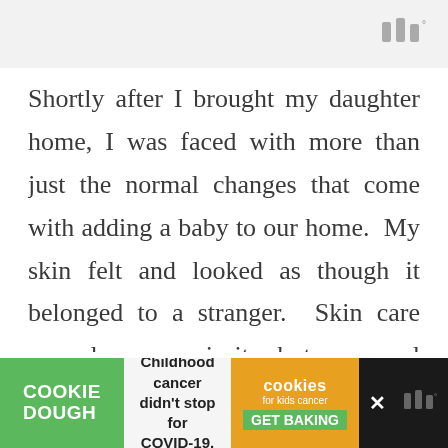[Figure (logo): Mediavine logo mark (three vertical bars with degree symbol) in grey, positioned in the top-right of a light grey header bar]
Shortly after I brought my daughter home, I was faced with more than just the normal changes that come with adding a baby to our home.  My skin felt and looked as though it belonged to a stranger.  Skin care was always a priority, but my usual products had to be re-evaluated
[Figure (infographic): Advertisement bar for Cookie Dough / Childhood cancer didn't stop for COVID-19 / cookies for kids cancer GET BAKING with close button]